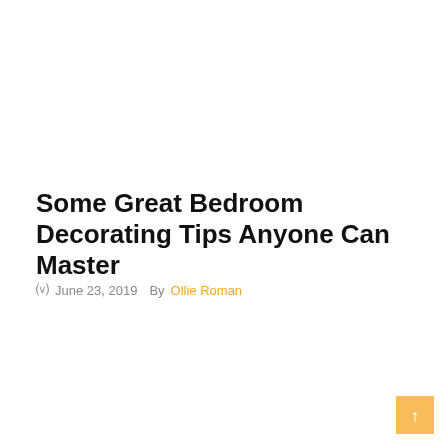Some Great Bedroom Decorating Tips Anyone Can Master
June 23, 2019   By Ollie Roman
HOME